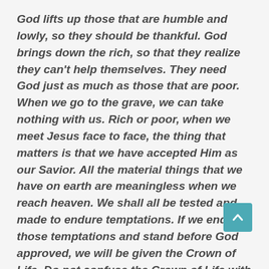God lifts up those that are humble and lowly, so they should be thankful. God brings down the rich, so that they realize they can't help themselves. They need God just as much as those that are poor. When we go to the grave, we can take nothing with us. Rich or poor, when we meet Jesus face to face, the thing that matters is that we have accepted Him as our Savior. All the material things that we have on earth are meaningless when we reach heaven. We shall all be tested and made to endure temptations. If we endure those temptations and stand before God approved, we will be given the Crown of Life. Do not confuse the Crown of Life with salvation. Salvation is a free gift from God, the Crown of Life is something we earn while we are on earth and it is given to us in heaven. That is why we are admonished to lay